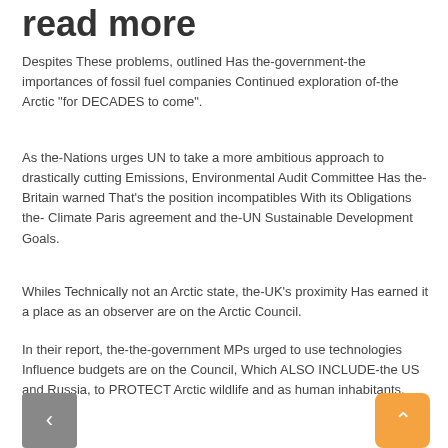read more
Despites These problems, outlined Has the-government-the importances of fossil fuel companies Continued exploration of-the Arctic "for DECADES to come".
As the-Nations urges UN to take a more ambitious approach to drastically cutting Emissions, Environmental Audit Committee Has the-Britain warned That's the position incompatibles With its Obligations the- Climate Paris agreement and the-UN Sustainable Development Goals.
Whiles Technically not an Arctic state, the-UK's proximity Has earned it a place as an observer are on the Arctic Council.
In their report, the-the-government MPs urged to use technologies Influence budgets are on the Council, Which ALSO INCLUDE-the US and Russia, to PROTECT Arctic wildlife and as human inhabitants.